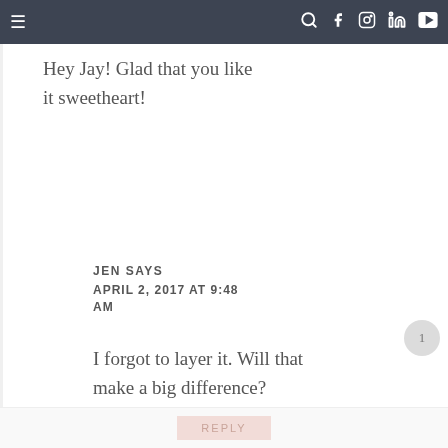≡  🔍 f 📷 𝗽 ▶
Hey Jay! Glad that you like it sweetheart!
JEN SAYS
APRIL 2, 2017 AT 9:48 AM
I forgot to layer it. Will that make a big difference?
REPLY